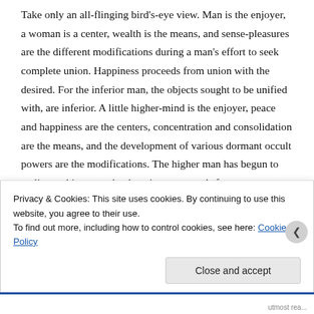Take only an all-flinging bird's-eye view. Man is the enjoyer, a woman is a center, wealth is the means, and sense-pleasures are the different modifications during a man's effort to seek complete union. Happiness proceeds from union with the desired. For the inferior man, the objects sought to be unified with, are inferior. A little higher-mind is the enjoyer, peace and happiness are the centers, concentration and consolidation are the means, and the development of various dormant occult powers are the modifications. The higher man has begun to realize at this stage, that happiness proceeds from
Privacy & Cookies: This site uses cookies. By continuing to use this website, you agree to their use.
To find out more, including how to control cookies, see here: Cookie Policy